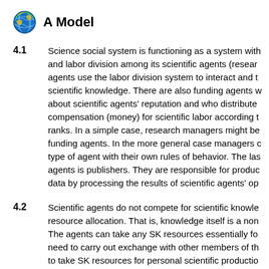A Model
4.1  Science social system is functioning as a system with and labor division among its scientific agents (resear agents use the labor division system to interact and t scientific knowledge. There are also funding agents w about scientific agents' reputation and who distribute compensation (money) for scientific labor according t ranks. In a simple case, research managers might be funding agents. In the more general case managers c type of agent with their own rules of behavior. The las agents is publishers. They are responsible for produc data by processing the results of scientific agents' op
4.2  Scientific agents do not compete for scientific knowle resource allocation. That is, knowledge itself is a non The agents can take any SK resources essentially fo need to carry out exchange with other members of th to take SK resources for personal scientific productio